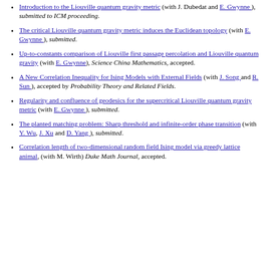Introduction to the Liouville quantum gravity metric (with J. Dubedat and E. Gwynne ), submitted to ICM proceeding.
The critical Liouville quantum gravity metric induces the Euclidean topology (with E. Gwynne ), submitted.
Up-to-constants comparison of Liouville first passage percolation and Liouville quantum gravity (with E. Gwynne ), Science China Mathematics, accepted.
A New Correlation Inequality for Ising Models with External Fields (with J. Song and R. Sun ), accepted by Probability Theory and Related Fields.
Regularity and confluence of geodesics for the supercritical Liouville quantum gravity metric (with E. Gwynne ), submitted.
The planted matching problem: Sharp threshold and infinite-order phase transition (with Y. Wu, J. Xu and D. Yang ), submitted.
Correlation length of two-dimensional random field Ising model via greedy lattice animal, (with M. Wirth) Duke Math Journal, accepted.